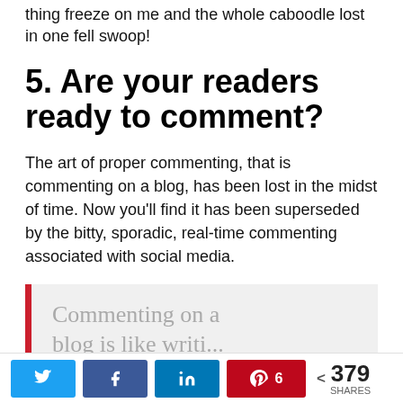thing freeze on me and the whole caboodle lost in one fell swoop!
5. Are your readers ready to comment?
The art of proper commenting, that is commenting on a blog, has been lost in the midst of time. Now you’ll find it has been superseded by the bitty, sporadic, real-time commenting associated with social media.
Commenting on a blog is like writing a...
< 379 SHARES [Twitter] [Facebook] [LinkedIn] [Pinterest 6]